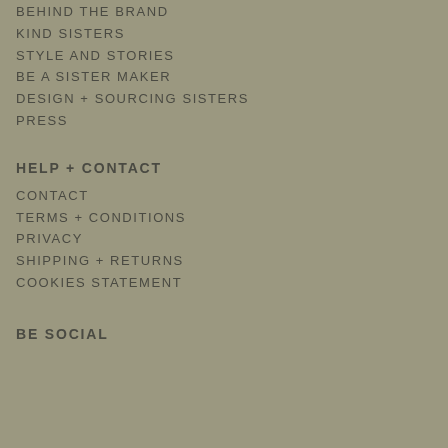BEHIND THE BRAND
KIND SISTERS
STYLE AND STORIES
BE A SISTER MAKER
DESIGN + SOURCING SISTERS
PRESS
HELP + CONTACT
CONTACT
TERMS + CONDITIONS
PRIVACY
SHIPPING + RETURNS
COOKIES STATEMENT
BE SOCIAL